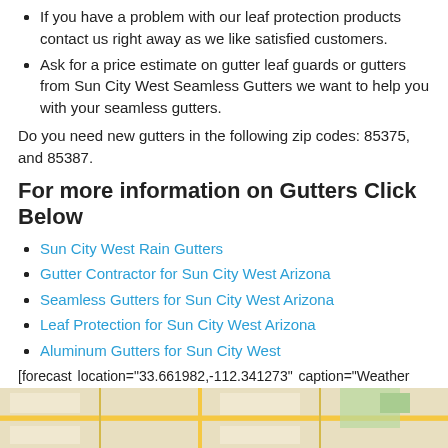If you have a problem with our leaf protection products contact us right away as we like satisfied customers.
Ask for a price estimate on gutter leaf guards or gutters from Sun City West Seamless Gutters we want to help you with your seamless gutters.
Do you need new gutters in the following zip codes: 85375, and 85387.
For more information on Gutters Click Below
Sun City West Rain Gutters
Gutter Contractor for Sun City West Arizona
Seamless Gutters for Sun City West Arizona
Leaf Protection for Sun City West Arizona
Aluminum Gutters for Sun City West
[forecast location="33.661982,-112.341273" caption="Weather for Sun City West" measurement='F' todaylabel="Today" datelabel="date('m/d/Y')" highlow='%%high%%°/%%low%%°' numdays="5" iconset="Contemporary" class="css_table_class" cache="true" width="100%"]
[Figure (map): Partial map view of Sun City West area shown as a strip at the bottom of the page]